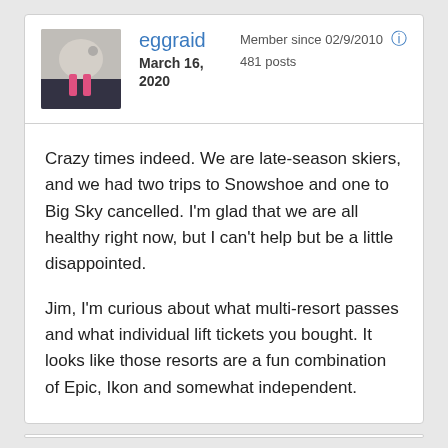[Figure (photo): Profile photo thumbnail of a person viewed from above, standing on snowy ground with skis or similar gear visible.]
eggraid
March 16, 2020
Member since 02/9/2010
481 posts
Crazy times indeed. We are late-season skiers, and we had two trips to Snowshoe and one to Big Sky cancelled. I'm glad that we are all healthy right now, but I can't help but be a little disappointed.
Jim, I'm curious about what multi-resort passes and what individual lift tickets you bought. It looks like those resorts are a fun combination of Epic, Ikon and somewhat independent.